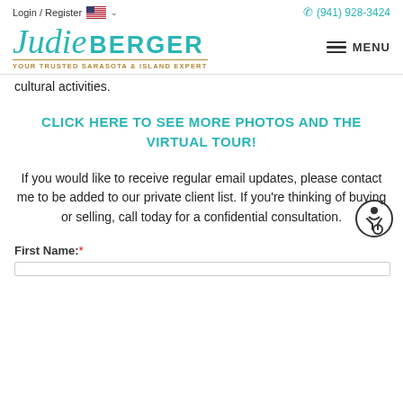Login / Register  🇺🇸 ∨   (941) 928-3424
[Figure (logo): Judie Berger logo with teal script 'Judie' and bold 'BERGER' lettering, tagline: YOUR TRUSTED SARASOTA & ISLAND EXPERT]
cultural activities.
CLICK HERE TO SEE MORE PHOTOS AND THE VIRTUAL TOUR!
If you would like to receive regular email updates, please contact me to be added to our private client list. If you're thinking of buying or selling, call today for a confidential consultation.
First Name:*